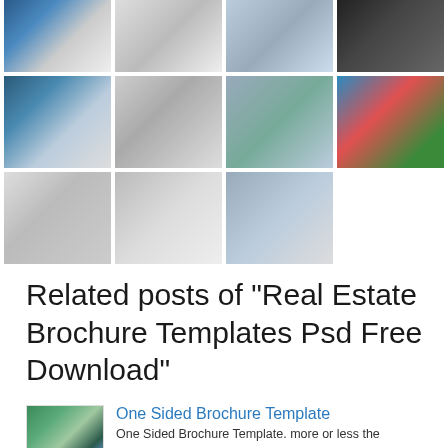[Figure (photo): Grid of brochure template thumbnails, row 1 (4 items): dark blue brochure mockup, white/light tri-fold brochure, light-colored brochure, dark/black brochure]
[Figure (photo): Grid of brochure template thumbnails, row 2 (4 items): blue-themed real estate brochure, folded white brochure on table, real estate brochure with photos, colorful tri-panel brochures with blue and red]
[Figure (photo): Grid of brochure template thumbnails, row 3 (3 items): folded paper brochure, angled brochure mockup, stack of brochures]
Related posts of "Real Estate Brochure Templates Psd Free Download"
[Figure (photo): Small thumbnail of One Sided Brochure Template showing green/teal design]
One Sided Brochure Template
One Sided Brochure Template. more or less the